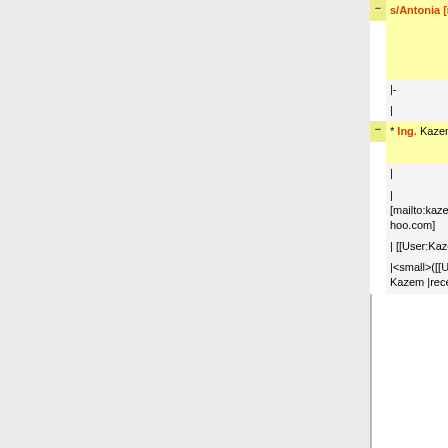[Figure (screenshot): A Wikipedia-style diff view showing two columns of wikitext. Left column (old) has yellow background with deletions marked in red/orange. Right column (new) has green background with additions marked in red. Content includes a reference to s/Antonia, contributor markup, 'People developing one or more applications of Kratos', table markup '|-', '|', '* Ing. Kazem Kamran' vs '* Dr. Kazem Kamran', email links, user links, and contribution links.]